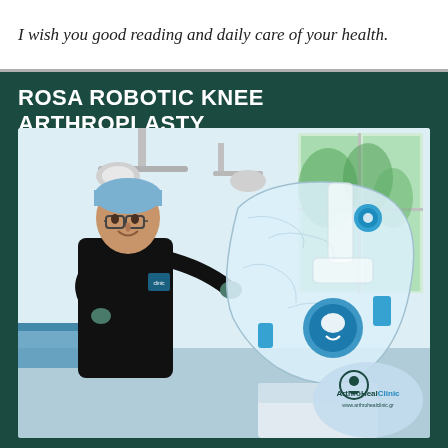I wish you good reading and daily care of your health.
ROSA ROBOTIC KNEE ARTHROPLASTY
[Figure (photo): A surgeon in black scrubs and blue surgical cap, smiling, operating the ROSA robotic surgical system (a white robotic arm covered in sterile drape with blue accents) in a modern operating room with large windows. The robot has the ROSA logo visible. An ArthroHeal Clinic watermark/logo is in the bottom right corner.]